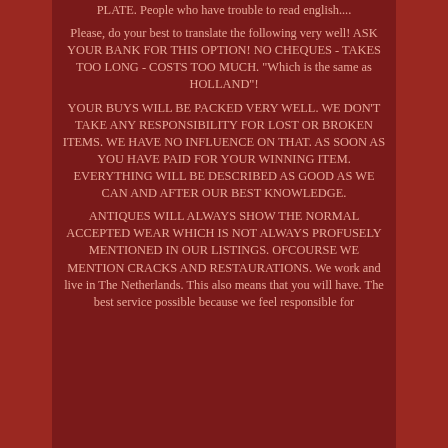PLATE. People who have trouble to read english.... Please, do your best to translate the following very well! ASK YOUR BANK FOR THIS OPTION! NO CHEQUES - TAKES TOO LONG - COSTS TOO MUCH. "Which is the same as HOLLAND"! YOUR BUYS WILL BE PACKED VERY WELL. WE DON'T TAKE ANY RESPONSIBILITY FOR LOST OR BROKEN ITEMS. WE HAVE NO INFLUENCE ON THAT. AS SOON AS YOU HAVE PAID FOR YOUR WINNING ITEM. EVERYTHING WILL BE DESCRIBED AS GOOD AS WE CAN AND AFTER OUR BEST KNOWLEDGE. ANTIQUES WILL ALWAYS SHOW THE NORMAL ACCEPTED WEAR WHICH IS NOT ALWAYS PROFUSELY MENTIONED IN OUR LISTINGS. OFCOURSE WE MENTION CRACKS AND RESTAURATIONS. We work and live in The Netherlands. This also means that you will have. The best service possible because we feel responsible for